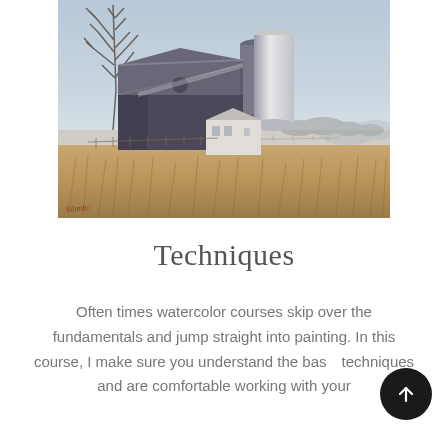[Figure (illustration): Watercolor painting of a rural farm scene with a large dark barn, cylindrical grain silos, bare trees, a small white outbuilding, wooden fences, and golden dry grass in the foreground under a pale blue-grey sky. Artist signature visible in lower-left corner in red.]
Techniques
Often times watercolor courses skip over the fundamentals and jump straight into painting. In this course, I make sure you understand the basic techniques and are comfortable working with your